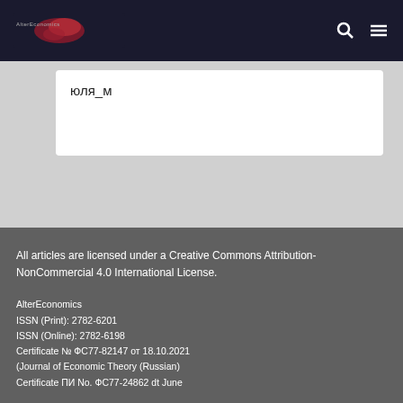AlterEconomics
юля_м
All articles are licensed under a Creative Commons Attribution-NonCommercial 4.0 International License.
AlterEconomics
ISSN (Print): 2782-6201
ISSN (Online): 2782-6198
Certificate № ФС77-82147 от 18.10.2021
(Journal of Economic Theory (Russian)
Certificate ПИ No. ФС77-24862 dt June